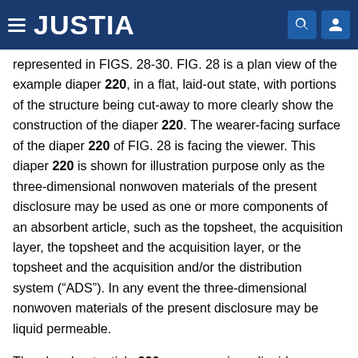JUSTIA
represented in FIGS. 28-30. FIG. 28 is a plan view of the example diaper 220, in a flat, laid-out state, with portions of the structure being cut-away to more clearly show the construction of the diaper 220. The wearer-facing surface of the diaper 220 of FIG. 28 is facing the viewer. This diaper 220 is shown for illustration purpose only as the three-dimensional nonwoven materials of the present disclosure may be used as one or more components of an absorbent article, such as the topsheet, the acquisition layer, the topsheet and the acquisition layer, or the topsheet and the acquisition and/or the distribution system (“ADS”). In any event the three-dimensional nonwoven materials of the present disclosure may be liquid permeable.
The absorbent article 220 may comprise a liquid permeable material or topsheet 224, a liquid impermeable material or backsheet 225, and an absorbent core.